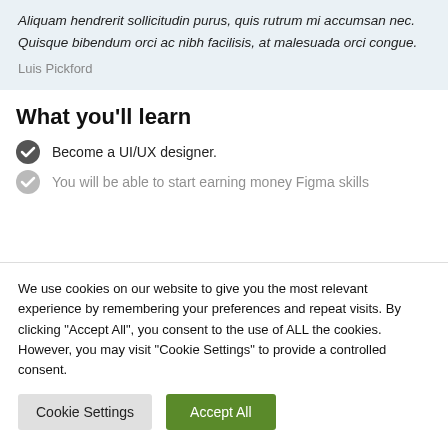Aliquam hendrerit sollicitudin purus, quis rutrum mi accumsan nec. Quisque bibendum orci ac nibh facilisis, at malesuada orci congue.
Luis Pickford
What you'll learn
Become a UI/UX designer.
You will be able to start earning money Figma skills
We use cookies on our website to give you the most relevant experience by remembering your preferences and repeat visits. By clicking "Accept All", you consent to the use of ALL the cookies. However, you may visit "Cookie Settings" to provide a controlled consent.